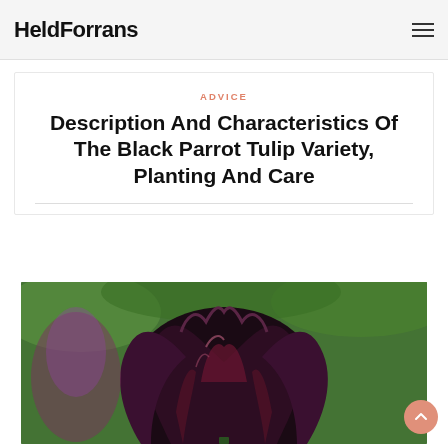HeldForrans
ADVICE
Description And Characteristics Of The Black Parrot Tulip Variety, Planting And Care
[Figure (photo): Close-up photograph of a dark purple-black Black Parrot Tulip with fringed petals against a green background]